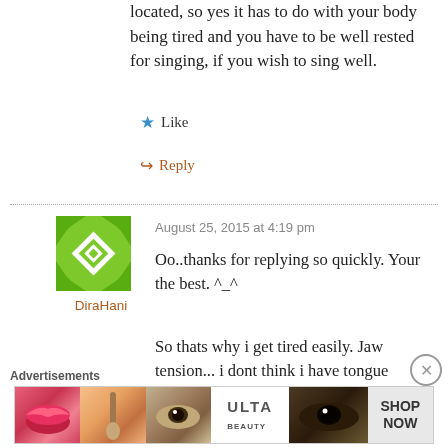located, so yes it has to do with your body being tired and you have to be well rested for singing, if you wish to sing well.
Like
Reply
August 25, 2015 at 4:19 pm
[Figure (illustration): Green geometric pattern avatar for user DiraHani]
DiraHani
Oo..thanks for replying so quickly. Your the best. ^_^
So thats why i get tired easily. Jaw tension... i dont think i have tongue
Advertisements
[Figure (photo): ULTA beauty advertisement banner showing beauty products and models]